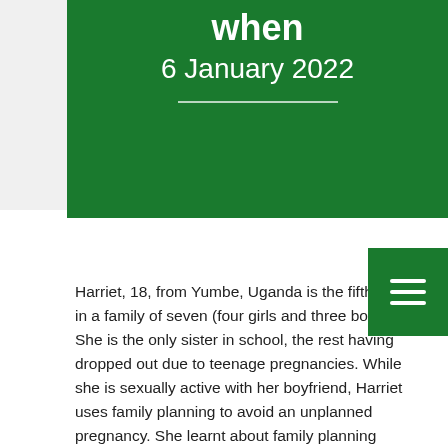When
6 January 2022
Harriet, 18, from Yumbe, Uganda is the fifth child in a family of seven (four girls and three boys). She is the only sister in school, the rest having dropped out due to teenage pregnancies. While she is sexually active with her boyfriend, Harriet uses family planning to avoid an unplanned pregnancy. She learnt about family planning while attending a health education session facilitated by the WISH Adolescent Sexual and Reproductive Health (ASRH) programme. The session was held at the Bolomoni HCIII youth-friendly space, where a service provider provided her with information on different contraceptive methods and after extensive counseling, she